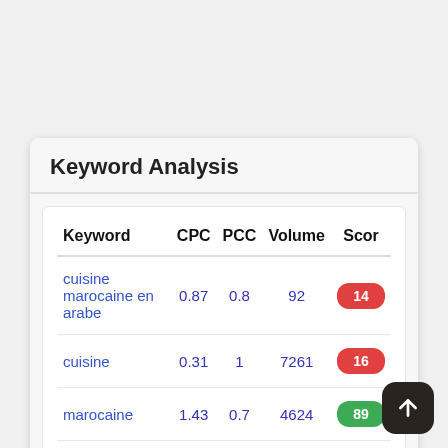Keyword Analysis
| Keyword | CPC | PCC | Volume | Score |
| --- | --- | --- | --- | --- |
| cuisine marocaine en arabe | 0.87 | 0.8 | 92 | 14 |
| cuisine | 0.31 | 1 | 7261 | 16 |
| marocaine | 1.43 | 0.7 | 4624 | 89 |
| en | 1.35 | 0.8 | 5774 | 49 |
| arabe | 1.06 | 0.5 | 827 |  |